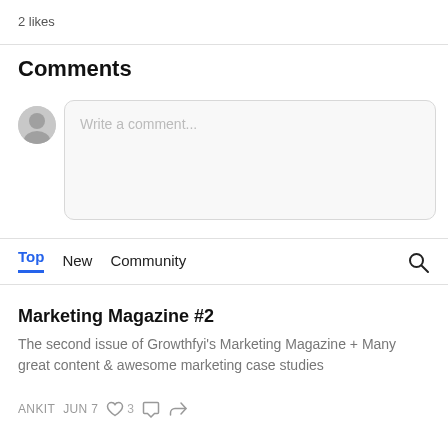2 likes
Comments
Write a comment...
Top   New   Community
Marketing Magazine #2
The second issue of Growthfyi's Marketing Magazine + Many great content & awesome marketing case studies
ANKIT  JUN 7  ♡3